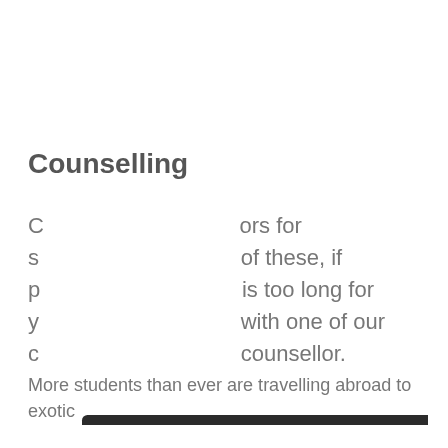Counselling
…ors for s… of these, if p… is too long for y… with one of our c… counsellor.
[Figure (screenshot): Cookie consent modal dialog with title 'This website uses cookies', description text with link 'read more about our cookies', checkboxes for STRICTLY NECESSARY (checked), PERFORMANCE, TARGETING, FUNCTIONALITY, and two buttons: ACCEPT ALL (green) and DECLINE ALL (outline).]
More students than ever are travelling abroad to exotic